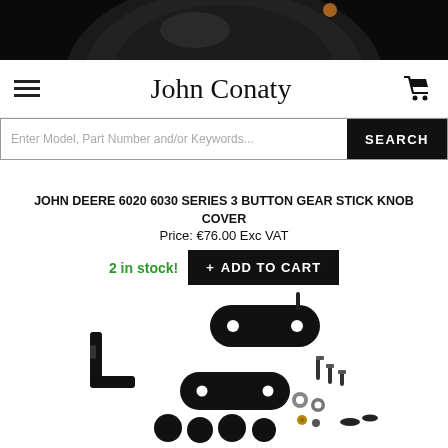[Figure (photo): Top portion of a black gear stick knob cover, cropped at the top of the page]
John Conaty
Enter Model, Part Number and/or Keywords...  SEARCH
JOHN DEERE 6020 6030 SERIES 3 BUTTON GEAR STICK KNOB COVER
Price: €76.00 Exc VAT
2 in stock!  + ADD TO CART
[Figure (photo): Product parts laid out on white background: black gear stick knob components including bracket, oval plates with holes, screws, small spherical caps, and washers]